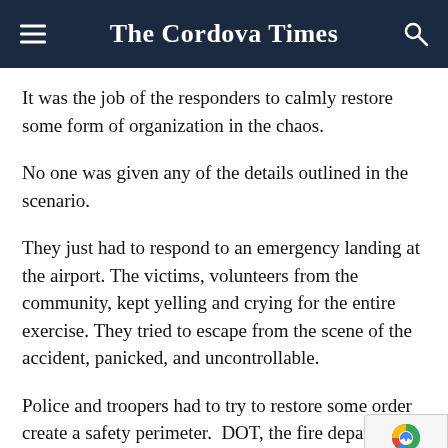The Cordova Times
It was the job of the responders to calmly restore some form of organization in the chaos.
No one was given any of the details outlined in the scenario.
They just had to respond to an emergency landing at the airport. The victims, volunteers from the community, kept yelling and crying for the entire exercise. They tried to escape from the scene of the accident, panicked, and uncontrollable.
Police and troopers had to try to restore some order create a safety perimeter.  DOT, the fire department, the Idaho team had to determine how to respond safely and